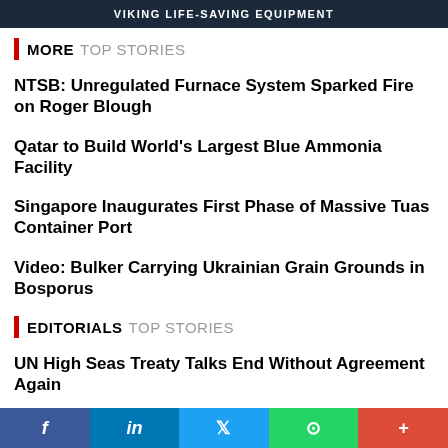[Figure (other): Banner advertisement for Viking Life-Saving Equipment with dark navy background]
MORE TOP STORIES
NTSB: Unregulated Furnace System Sparked Fire on Roger Blough
Qatar to Build World's Largest Blue Ammonia Facility
Singapore Inaugurates First Phase of Massive Tuas Container Port
Video: Bulker Carrying Ukrainian Grain Grounds in Bosporus
EDITORIALS TOP STORIES
UN High Seas Treaty Talks End Without Agreement Again
Greenland's Ice Sheet is "Committed" to 10 Inches of Sea Level Rise
Enhancing Voluntary Weather Observations From Ships in the Arctic
[Figure (other): Social media sharing buttons bar: Facebook, LinkedIn, Twitter, WhatsApp, Google+]